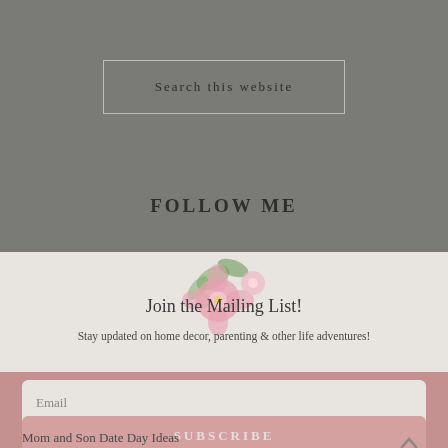Search this website
FOLLOW ME
[Figure (illustration): Floral watercolor decoration with pink flowers and green leaves]
Join the Mailing List!
Stay updated on home decor, parenting & other life adventures!
RECENT POSTS
Email
SUBSCRIBE
Mom and Son Date Day Ideas